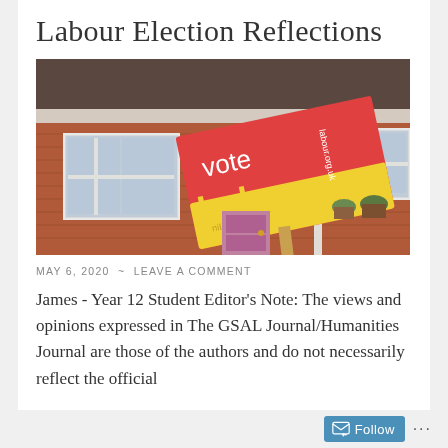Labour Election Reflections
[Figure (photo): A Vote Labour election sign (red and yellow) mounted on a stake in front of a brick house with windows. The sign reads 'vote Labour' with 'labour.org.uk' and 'niLabour' text.]
MAY 6, 2020  ~  LEAVE A COMMENT
James - Year 12 Student Editor's Note: The views and opinions expressed in The GSAL Journal/Humanities Journal are those of the authors and do not necessarily reflect the official